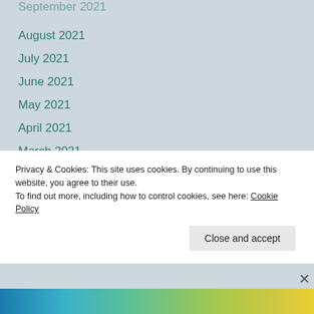September 2021
August 2021
July 2021
June 2021
May 2021
April 2021
March 2021
February 2021
January 2021
Privacy & Cookies: This site uses cookies. By continuing to use this website, you agree to their use. To find out more, including how to control cookies, see here: Cookie Policy
Close and accept